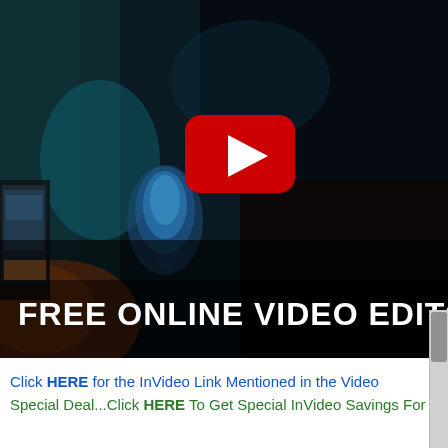[Figure (screenshot): YouTube video thumbnail showing a man sitting at a computer in a dark room with a glowing blue holographic lightbulb display. A red YouTube play button is centered on the image. Bold white text reads 'FREE ONLINE VIDEO EDITOR' at the bottom of the image.]
Click HERE for the InVideo Link Mentioned in the Video Special Deal...Click HERE To Get Special InVideo Savings For